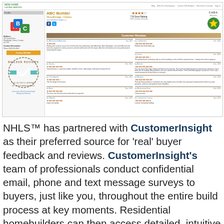[Figure (screenshot): Screenshot of New Home Listing Service website showing ABC Builder profile page with customer reviews section, CustomerInsight verified badge, CHBA member badge, star ratings, and multiple customer review snippets]
NHLS™ has partnered with CustomerInsight as their preferred source for 'real' buyer feedback and reviews. CustomerInsight's team of professionals conduct confidential email, phone and text message surveys to buyers, just like you, throughout the entire build process at key moments. Residential homebuilders can then access detailed, intuitive and actionable analysis that allow them to make improvements throughout their operations that lead to